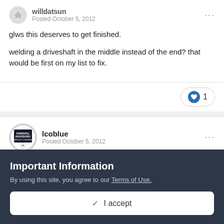willdatsun
Posted October 5, 2012
glws this deserves to get finished.
welding a driveshaft in the middle instead of the end? that would be first on my list to fix.
lcoblue
Posted October 5, 2012
Important Information
By using this site, you agree to our Terms of Use.
✓  I accept